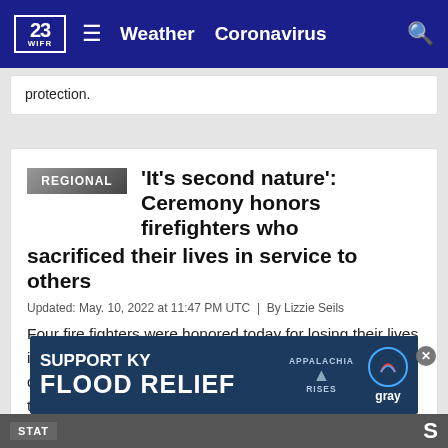23 WIFR | Weather | Coronavirus
protection.
'It's second nature': Ceremony honors firefighters who sacrificed their lives in service to others
Updated: May. 10, 2022 at 11:47 PM UTC  |  By Lizzie Seils
Four fire fighters were honored today for losing their lives in service to their communities through the fire department. It's a large sacrifice, but to the fire fighters at the memorial today, they say what they do is nothing out of the ordinary.
[Figure (infographic): Advertisement banner: SUPPORT KY FLOOD RELIEF with Appalachia Rises and Gray logos]
STAT... S